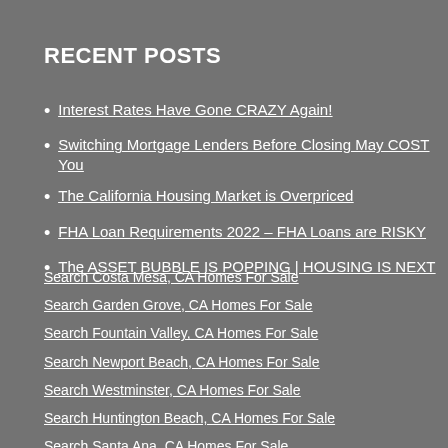RECENT POSTS
Interest Rates Have Gone CRAZY Again!
Switching Mortgage Lenders Before Closing May COST You
The California Housing Market is Overpriced
FHA Loan Requirements 2022 – FHA Loans are RISKY
The ASSET BUBBLE IS POPPING | HOUSING IS NEXT
Search Costa Mesa, CA Homes For Sale
Search Garden Grove, CA Homes For Sale
Search Fountain Valley, CA Homes For Sale
Search Newport Beach, CA Homes For Sale
Search Westminster, CA Homes For Sale
Search Huntington Beach, CA Homes For Sale
Search Santa Ana, CA Homes For Sale